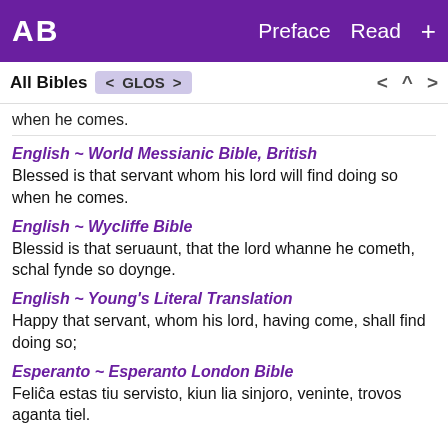AB  Preface  Read  +
All Bibles  < GLOS >  < ^ >
when he comes.
English ~ World Messianic Bible, British
Blessed is that servant whom his lord will find doing so when he comes.
English ~ Wycliffe Bible
Blessid is that seruaunt, that the lord whanne he cometh, schal fynde so doynge.
English ~ Young's Literal Translation
Happy that servant, whom his lord, having come, shall find doing so;
Esperanto ~ Esperanto London Bible
Feliĉa estas tiu servisto, kiun lia sinjoro, veninte, trovos aganta tiel.